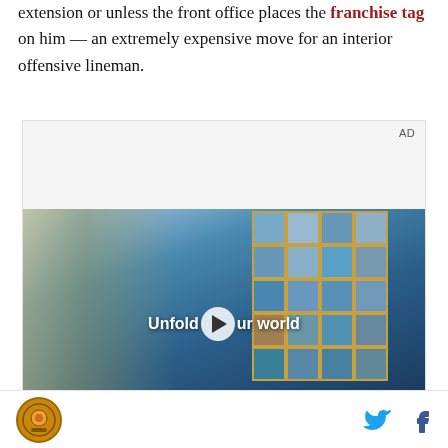extension or unless the front office places the franchise tag on him — an extremely expensive move for an interior offensive lineman.
[Figure (screenshot): Video advertisement showing a young man in a denim jacket standing in front of a large tiled glass wall in what appears to be a store. Text overlay reads 'Unfold your world' with a play button. AD label in upper right.]
Site logo icon with social media icons for Twitter and Facebook